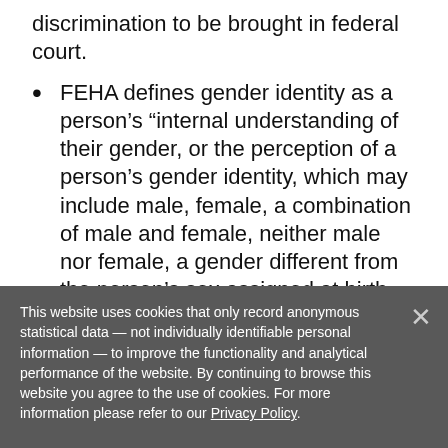discrimination to be brought in federal court.
FEHA defines gender identity as a person’s “internal understanding of their gender, or the perception of a person’s gender identity, which may include male, female, a combination of male and female, neither male nor female, a gender different from the person’s sex assigned at birth, or transgender.”
FEHA defines gender expression is defined as a person’s “gender-related appearance or behavior, or the perception of such appearance or behavior, whether or not stereotypically associated with the person’s sex
This website uses cookies that only record anonymous statistical data — not individually identifiable personal information — to improve the functionality and analytical performance of the website. By continuing to browse this website you agree to the use of cookies. For more information please refer to our Privacy Policy.